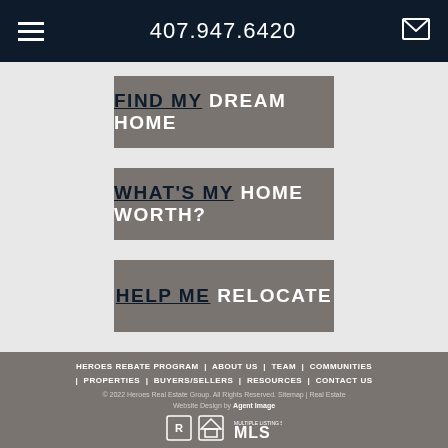407.947.6420
FIND MY DREAM HOME
WHAT'S MY HOME WORTH?
HELP ME RELOCATE
HEROES REBATE PROGRAM | ABOUT US | TEAM | COMMUNITIES | PROPERTIES | BUYERS/SELLERS | RESOURCES | CONTACT US
© 2022 Heroes Real Estate Group. All Rights Reserved. Sitemap | Real Estate Website Design by Agent Image